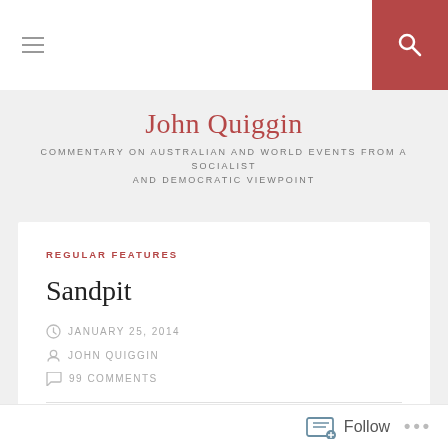John Quiggin
COMMENTARY ON AUSTRALIAN AND WORLD EVENTS FROM A SOCIALIST AND DEMOCRATIC VIEWPOINT
REGULAR FEATURES
Sandpit
JANUARY 25, 2014
JOHN QUIGGIN
99 COMMENTS
A new sandpit for long side discussions, idees fixes and so on.